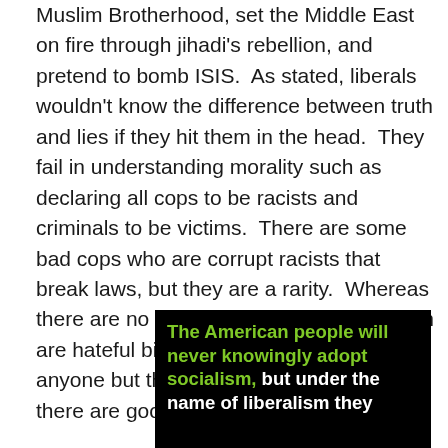Muslim Brotherhood, set the Middle East on fire through jihadi's rebellion, and pretend to bomb ISIS.  As stated, liberals wouldn't know the difference between truth and lies if they hit them in the head.  They fail in understanding morality such as declaring all cops to be racists and criminals to be victims.  There are some bad cops who are corrupt racists that break laws, but they are a rarity.  Whereas there are no good criminals and all of them are hateful bigots who don't care about anyone but themselves, yet liberals think there are good people among them.
[Figure (infographic): Black background image with bold text: green text reading 'The American people will never knowingly adopt socialism,' followed by white text reading 'but under the name of liberalism they']